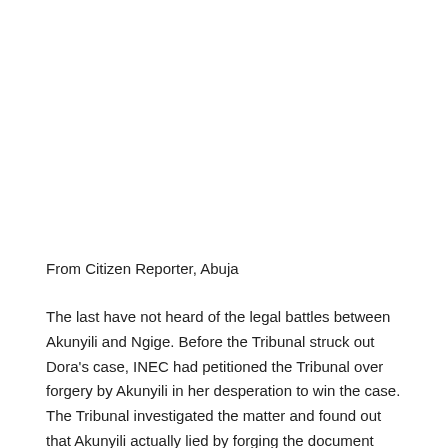From Citizen Reporter, Abuja
The last have not heard of the legal battles between Akunyili and Ngige. Before the Tribunal struck out Dora's case, INEC had petitioned the Tribunal over forgery by Akunyili in her desperation to win the case. The Tribunal investigated the matter and found out that Akunyili actually lied by forging the document which did not exist anywhere in the Tribunal's record